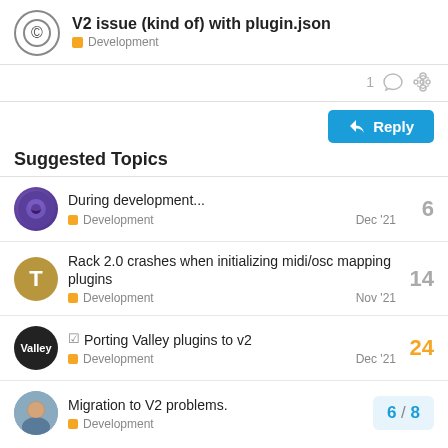V2 issue (kind of) with plugin.json — Development
1 ♡ 🔗
Reply
Suggested Topics
During development... — Development — 6 — Dec '21
Rack 2.0 crashes when initializing midi/osc mapping plugins — Development — 14 — Nov '21
✓ Porting Valley plugins to v2 — Development — 24 — Dec '21
Migration to V2 problems. — Development — 6/8